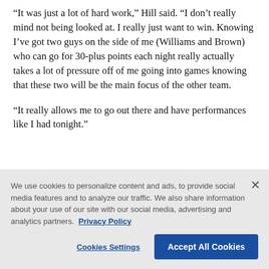“It was just a lot of hard work,” Hill said. “I don’t really mind not being looked at. I really just want to win. Knowing I’ve got two guys on the side of me (Williams and Brown) who can go for 30-plus points each night really actually takes a lot of pressure off of me going into games knowing that these two will be the main focus of the other team.
“It really allows me to go out there and have performances like I had tonight.”
We use cookies to personalize content and ads, to provide social media features and to analyze our traffic. We also share information about your use of our site with our social media, advertising and analytics partners. Privacy Policy